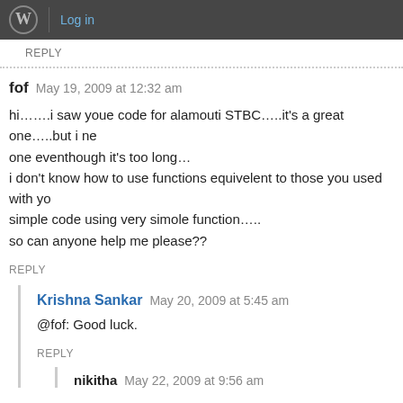Log in
REPLY
fof  May 19, 2009 at 12:32 am
hi…….i saw youe code for alamouti STBC…..it's a great one…..but i need to write simpler one eventhough it's too long…
i don't know how to use functions equivelent to those you used with your code …so a simple code using very simole function…..
so can anyone help me please??
REPLY
Krishna Sankar  May 20, 2009 at 5:45 am
@fof: Good luck.
REPLY
nikitha  May 22, 2009 at 9:56 am